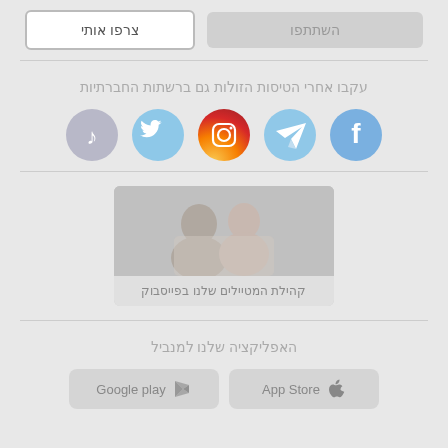עקבו אחרינו על טיסות חזלות לפני מלחם
צרפו אותי | השתתפו
עקבו אחרי הטיסות הזולות גם ברשתות החברתיות
[Figure (illustration): Social media icons: Facebook, Telegram, Instagram, Twitter, TikTok]
[Figure (photo): A couple looking at a phone together, representing the traveler community on Facebook]
קהילת המטיילים שלנו בפייסבוק
האפליקציה שלנו למנביל
App Store | Google play